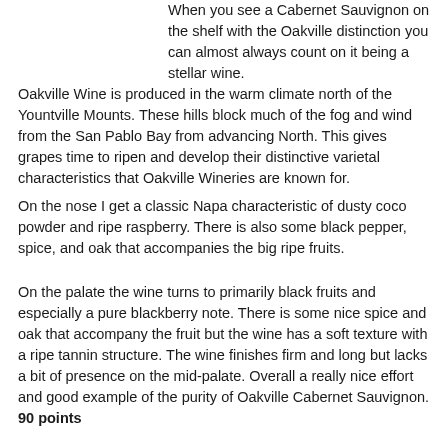When you see a Cabernet Sauvignon on the shelf with the Oakville distinction you can almost always count on it being a stellar wine.
Oakville Wine is produced in the warm climate north of the Yountville Mounts. These hills block much of the fog and wind from the San Pablo Bay from advancing North. This gives grapes time to ripen and develop their distinctive varietal characteristics that Oakville Wineries are known for.
On the nose I get a classic Napa characteristic of dusty coco powder and ripe raspberry. There is also some black pepper, spice, and oak that accompanies the big ripe fruits.
On the palate the wine turns to primarily black fruits and especially a pure blackberry note. There is some nice spice and oak that accompany the fruit but the wine has a soft texture with a ripe tannin structure. The wine finishes firm and long but lacks a bit of presence on the mid-palate. Overall a really nice effort and good example of the purity of Oakville Cabernet Sauvignon. 90 points